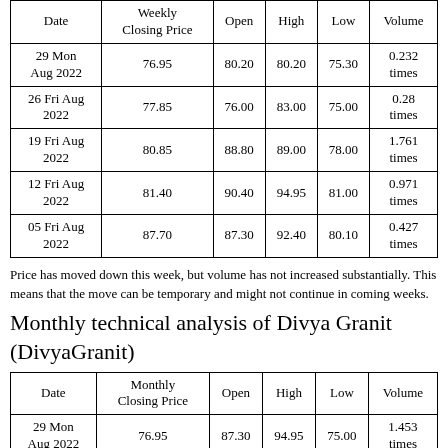| Date | Weekly Closing Price | Open | High | Low | Volume |
| --- | --- | --- | --- | --- | --- |
| 29 Mon Aug 2022 | 76.95 | 80.20 | 80.20 | 75.30 | 0.232 times |
| 26 Fri Aug 2022 | 77.85 | 76.00 | 83.00 | 75.00 | 0.28 times |
| 19 Fri Aug 2022 | 80.85 | 88.80 | 89.00 | 78.00 | 1.761 times |
| 12 Fri Aug 2022 | 81.40 | 90.40 | 94.95 | 81.00 | 0.971 times |
| 05 Fri Aug 2022 | 87.70 | 87.30 | 92.40 | 80.10 | 0.427 times |
Price has moved down this week, but volume has not increased substantially. This means that the move can be temporary and might not continue in coming weeks.
Monthly technical analysis of Divya Granit (DivyaGranit)
| Date | Monthly Closing Price | Open | High | Low | Volume |
| --- | --- | --- | --- | --- | --- |
| 29 Mon Aug 2022 | 76.95 | 87.30 | 94.95 | 75.00 | 1.453 times |